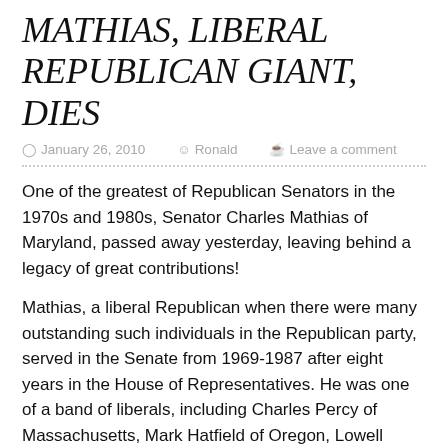MATHIAS, LIBERAL REPUBLICAN GIANT, DIES
January 26, 2010   Ronald   Leave a comment
One of the greatest of Republican Senators in the 1970s and 1980s, Senator Charles Mathias of Maryland, passed away yesterday, leaving behind a legacy of great contributions!
Mathias, a liberal Republican when there were many outstanding such individuals in the Republican party, served in the Senate from 1969-1987 after eight years in the House of Representatives. He was one of a band of liberals, including Charles Percy of Massachusetts, Mark Hatfield of Oregon, Lowell Weicker of Connecticut, Jacob Javits of New York, Clifford